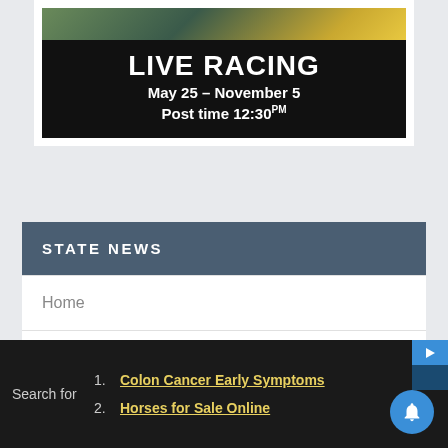[Figure (screenshot): Delaware Park Live Racing advertisement banner showing horses and text: LIVE RACING, May 25 - November 5, Post time 12:30PM]
STATE NEWS
Home
Delaware
Maryland
- Preakness Weekend
Search for
1. Colon Cancer Early Symptoms
2. Horses for Sale Online